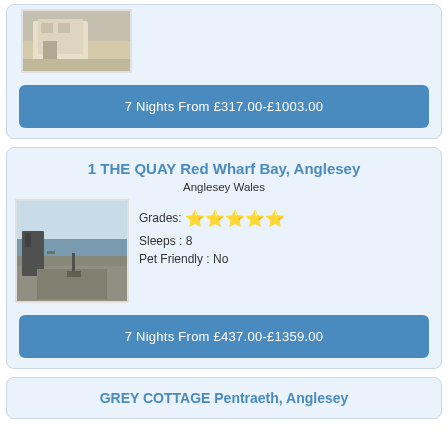[Figure (photo): Photo of a building/cottage exterior]
7 Nights From £317.00-£1003.00
1 THE QUAY Red Wharf Bay, Anglesey
Anglesey Wales
[Figure (photo): Photo of a coastal road/quay]
Grades: ★★★★★
Sleeps : 8
Pet Friendly : No
7 Nights From £437.00-£1359.00
GREY COTTAGE Pentraeth, Anglesey